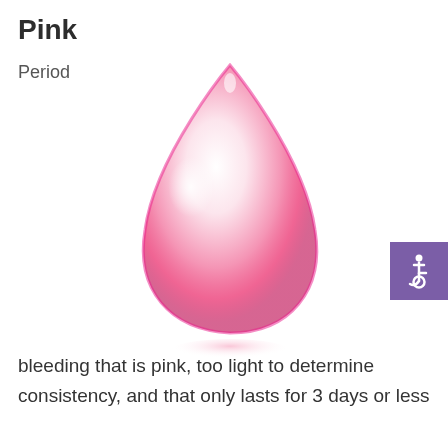Pink
Period
[Figure (illustration): A glossy pink water droplet illustration with a light reflection in the center and a soft pink shadow beneath it, centered on the page.]
[Figure (infographic): Purple square with white wheelchair accessibility icon in the bottom-right corner.]
bleeding that is pink, too light to determine consistency, and that only lasts for 3 days or less